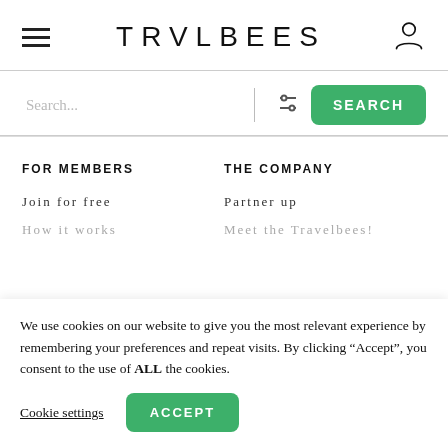TRVLBEES
Search...
FOR MEMBERS
Join for free
How it works
THE COMPANY
Partner up
Meet the Travelbees!
We use cookies on our website to give you the most relevant experience by remembering your preferences and repeat visits. By clicking “Accept”, you consent to the use of ALL the cookies.
Cookie settings
ACCEPT